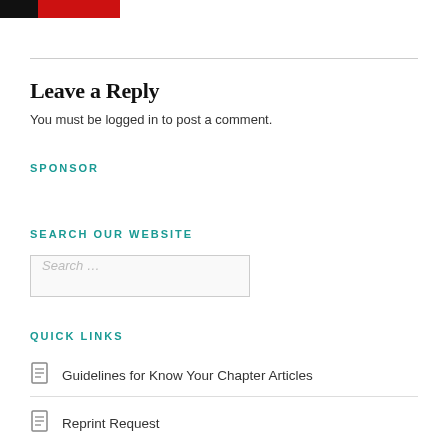[Figure (logo): Red and black logo bar at top left]
Leave a Reply
You must be logged in to post a comment.
SPONSOR
SEARCH OUR WEBSITE
Search ...
QUICK LINKS
Guidelines for Know Your Chapter Articles
Reprint Request